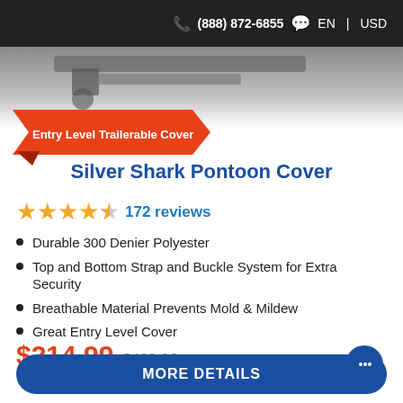(888) 872-6855  EN  |  USD
[Figure (photo): Partial photo of a boat/pontoon trailer hitch and cover, top portion visible, fading to white at bottom]
Entry Level Trailerable Cover
Silver Shark Pontoon Cover
★★★★½  172 reviews
Durable 300 Denier Polyester
Top and Bottom Strap and Buckle System for Extra Security
Breathable Material Prevents Mold & Mildew
Great Entry Level Cover
$214.99  $429.98
MORE DETAILS